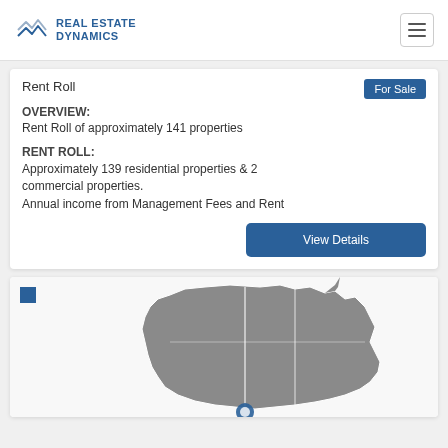REAL ESTATE DYNAMICS
Rent Roll
OVERVIEW:
Rent Roll of approximately 141 properties
RENT ROLL:
Approximately 139 residential properties & 2 commercial properties. Annual income from Management Fees and Rent
[Figure (map): Map of Australia showing location marker]